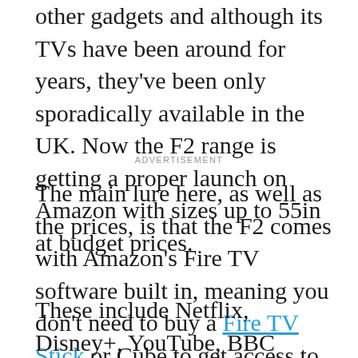You might know Xiaomi for its phones, tablets or other gadgets and although its TVs have been around for years, they've been only sporadically available in the UK. Now the F2 range is getting a proper launch on Amazon with sizes up to 55in at budget prices.
ADVERTISEMENT
The main lure here, as well as the prices, is that the F2 comes with Amazon's Fire TV software built in, meaning you don't need to buy a Fire TV Stick or Cube to get access to various streaming and catch-up services.
These include Netflix, Disney+, YouTube, BBC iPlayer, ITV Hub, All 4, Now and, of course, Amazon Prime Video. There's also a voice remote so you can